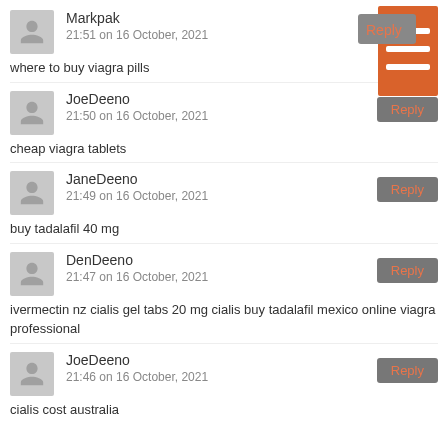Markpak
21:51 on 16 October, 2021
where to buy viagra pills
JoeDeeno
21:50 on 16 October, 2021
cheap viagra tablets
JaneDeeno
21:49 on 16 October, 2021
buy tadalafil 40 mg
DenDeeno
21:47 on 16 October, 2021
ivermectin nz cialis gel tabs 20 mg cialis buy tadalafil mexico online viagra professional
JoeDeeno
21:46 on 16 October, 2021
cialis cost australia